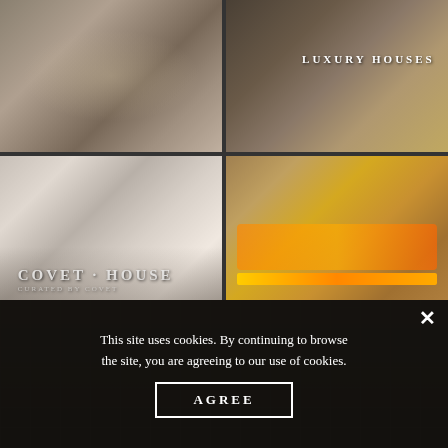[Figure (photo): Grid of four luxury interior design photographs: top-left shows a close-up of a tufted upholstered chair with nail-head trim in grey/beige tones; top-right shows a luxury bedroom with dark headboard and gold rug overlay with 'LUXURY HOUSES' text; bottom-left shows an elegant living room with chandelier, white sofas, a mirror, and plants with 'COVET HOUSE' branding; bottom-right shows a golden sideboard with a fireplace and decorative items.]
This site uses cookies. By continuing to browse the site, you are agreeing to our use of cookies.